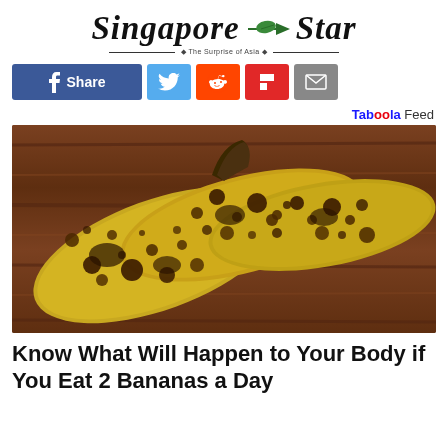Singapore Star — The Surprise of Asia
[Figure (logo): Singapore Star newspaper logo with leaf graphic and tagline 'The Surprise of Asia']
[Figure (infographic): Social media share buttons: Facebook Share, Twitter, Reddit, Flipboard, Email. Taboola Feed label at right.]
[Figure (photo): Three overripe bananas with brown spots lying on a wooden surface]
Know What Will Happen to Your Body if You Eat 2 Bananas a Day